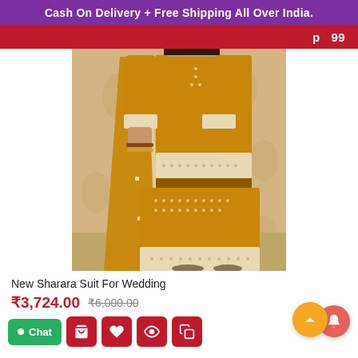Cash On Delivery + Free Shipping All Over India.
[Figure (photo): Model wearing a golden/mustard yellow Sharara suit with embroidered dupatta, standing against a floral beige background. The outfit features intricate white embroidery/embellishments on the kurta, sharara pants, and dupatta edges.]
New Sharara Suit For Wedding
₹3,724.00  ₹6,000.00
Chat  [cart icon] [heart icon] [eye icon] [copy icon]